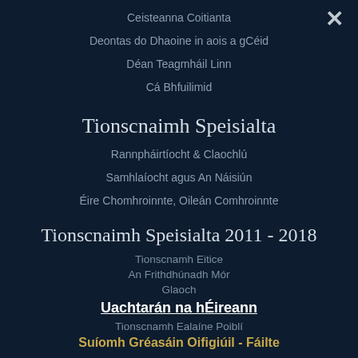Ceisteanna Coitianta
Deontas do Dhaoine in aois a gCéid
Déan Teagmháil Linn
Cá Bhfuilimid
Tionscnaimh Speisialta
Rannpháirtíocht & Claochlú
Samhlaíocht agus An Náisiún
Éire Chomhroinnte, Oileán Comhroinnte
Tionscnaimh Speisialta 2011 - 2018
Tionscnamh Eitice
An Frithdhúnadh Mór
Glaoch
Uachtarán na hÉireann
Tionscnamh Ealaíne Poiblí
Suíomh Gréasáin Oifigiúil - Fáilte
Rannóg na bPáistí